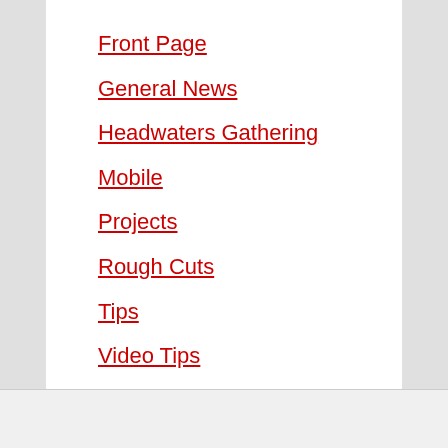Front Page
General News
Headwaters Gathering
Mobile
Projects
Rough Cuts
Tips
Video Tips